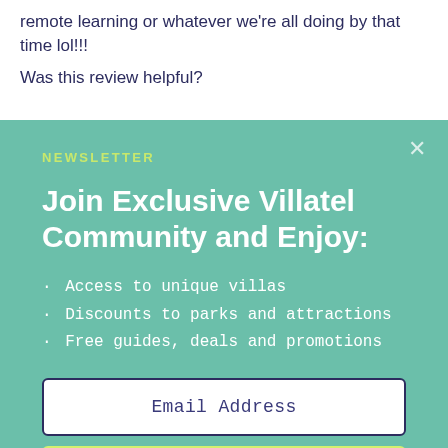remote learning or whatever we're all doing by that time lol!!!
Was this review helpful?
NEWSLETTER
Join Exclusive Villatel Community and Enjoy:
Access to unique villas
Discounts to parks and attractions
Free guides, deals and promotions
Email Address
SIGN UP